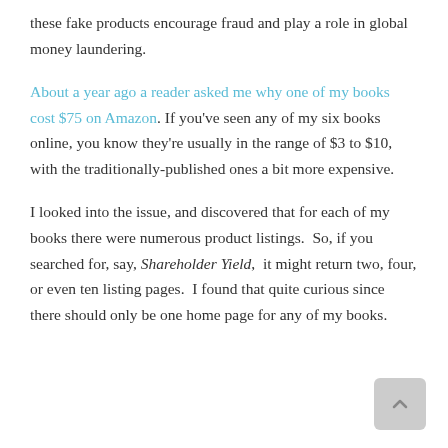these fake products encourage fraud and play a role in global money laundering.
About a year ago a reader asked me why one of my books cost $75 on Amazon. If you've seen any of my six books online, you know they're usually in the range of $3 to $10, with the traditionally-published ones a bit more expensive.
I looked into the issue, and discovered that for each of my books there were numerous product listings.  So, if you searched for, say, Shareholder Yield,  it might return two, four, or even ten listing pages.  I found that quite curious since there should only be one home page for any of my books.